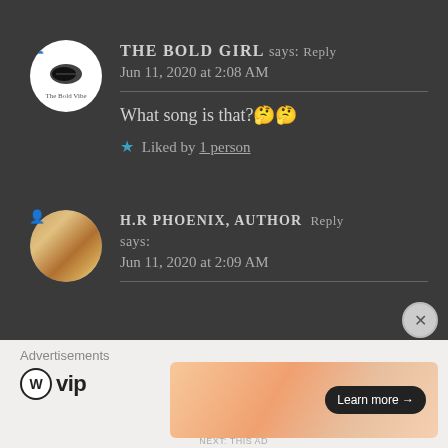THE BOLD GIRL says: Reply
Jun 11, 2020 at 2:08 AM
What song is that?🤔🤔
★ Liked by 1 person
H.R PHOENIX, AUTHOR says: Reply
Jun 11, 2020 at 2:09 AM
Advertisements
[Figure (logo): WordPress VIP logo with WP circle icon and 'vip' text]
[Figure (other): Orange/peach gradient advertisement banner with 'Learn more →' button]